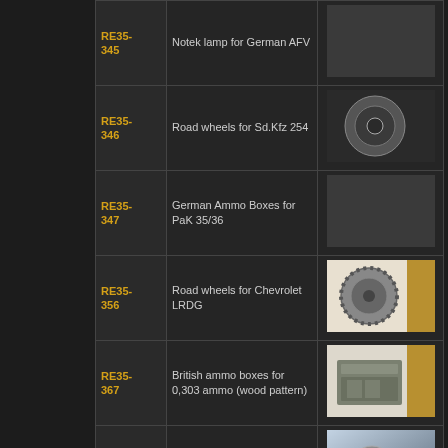| Code | Name | Image |
| --- | --- | --- |
| RE35-345 | Notek lamp for German AFV |  |
| RE35-346 | Road wheels for Sd.Kfz 254 |  |
| RE35-347 | German Ammo Boxes for PaK 35/36 |  |
| RE35-356 | Road wheels for Chevrolet LRDG | image |
| RE35-367 | British ammo boxes for 0,303 ammo (wood pattern) | image |
| RE35-370 | Damage Drive Wheel for Pz.III (early) | image |
| RE35-386 | Fennek Wheels | image |
| RE35- | WWII German 50l | image |